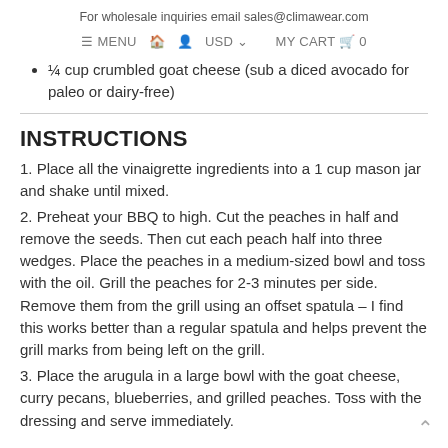For wholesale inquiries email sales@climawear.com
≡ MENU  🏠  👤  USD ∨    MY CART 🛒 0
¼ cup crumbled goat cheese (sub a diced avocado for paleo or dairy-free)
INSTRUCTIONS
1. Place all the vinaigrette ingredients into a 1 cup mason jar and shake until mixed.
2. Preheat your BBQ to high. Cut the peaches in half and remove the seeds. Then cut each peach half into three wedges. Place the peaches in a medium-sized bowl and toss with the oil. Grill the peaches for 2-3 minutes per side. Remove them from the grill using an offset spatula – I find this works better than a regular spatula and helps prevent the grill marks from being left on the grill.
3. Place the arugula in a large bowl with the goat cheese, curry pecans, blueberries, and grilled peaches. Toss with the dressing and serve immediately.